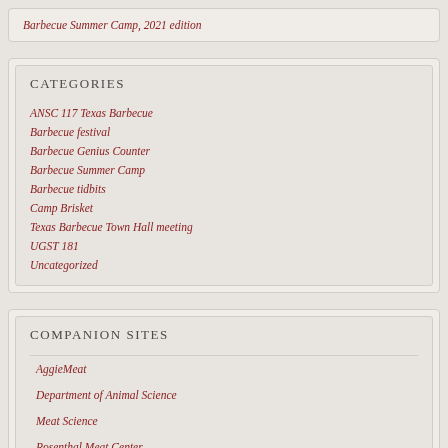Barbecue Summer Camp, 2021 edition
CATEGORIES
ANSC 117 Texas Barbecue
Barbecue festival
Barbecue Genius Counter
Barbecue Summer Camp
Barbecue tidbits
Camp Brisket
Texas Barbecue Town Hall meeting
UGST 181
Uncategorized
COMPANION SITES
AggieMeat
Department of Animal Science
Meat Science
Rosenthal Meat Center